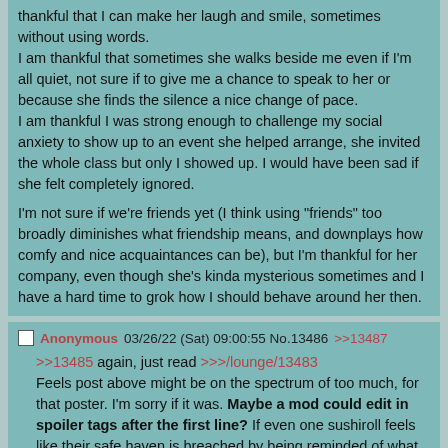thankful that I can make her laugh and smile, sometimes without using words.
I am thankful that sometimes she walks beside me even if I'm all quiet, not sure if to give me a chance to speak to her or because she finds the silence a nice change of pace.
I am thankful I was strong enough to challenge my social anxiety to show up to an event she helped arrange, she invited the whole class but only I showed up. I would have been sad if she felt completely ignored.

I'm not sure if we're friends yet (I think using "friends" too broadly diminishes what friendship means, and downplays how comfy and nice acquaintances can be), but I'm thankful for her company, even though she's kinda mysterious sometimes and I have a hard time to grok how I should behave around her then.
Anonymous 03/26/22 (Sat) 09:00:55 No.13486 >>13487
>>13485 again, just read >>>/lounge/13483
Feels post above might be on the spectrum of too much, for that poster. I'm sorry if it was. Maybe a mod could edit in spoiler tags after the first line? If even one sushiroll feels like their safe haven is breached by being reminded of what they don't have, that's enough for me to warrant fine tuning my posting behavior.

Would feel weird to go to /hell/ to write about the high points of my life that I'm thankful for that I don't have...